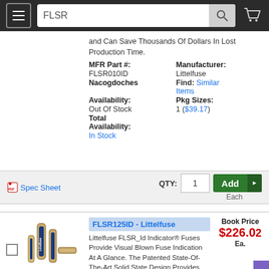FLSR (search query)
and Can Save Thousands Of Dollars In Lost Production Time.
| MFR Part #: | Manufacturer: |
| --- | --- |
| FLSR010ID | Littelfuse |
| Nacogdoches | Find: Similar Items |
| Availability: | Pkg Sizes: |
| Out Of Stock | 1 ($39.17) |
| Total Availability: |  |
| In Stock |  |
Spec Sheet   QTY: 1   Add   Each
[Figure (photo): Littelfuse FLSR fuses product photo]
View Larger
FLSR125ID - Littelfuse
Book Price
$226.02
Ea.
Littelfuse FLSR_Id Indicator® Fuses Provide Visual Blown Fuse Indication At A Glance. The Patented State-Of-The-Art Solid State Design Provides Maximum Reliability and Superior Performance Characteristics In A True Dual-Element Design. The Use Of Indicator Fuses Reduces Down-Time, Nuisance Opening, Increases Safety, and Can Save Thousands Of In